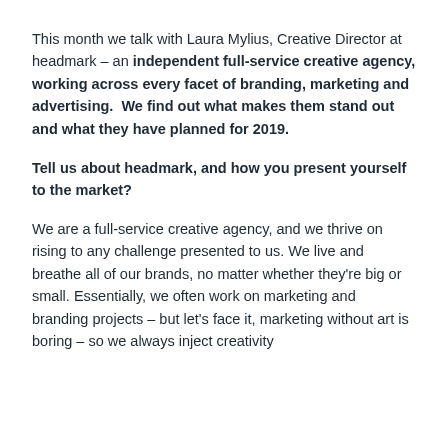This month we talk with Laura Mylius, Creative Director at headmark – an independent full-service creative agency, working across every facet of branding, marketing and advertising.  We find out what makes them stand out and what they have planned for 2019.
Tell us about headmark, and how you present yourself to the market?
We are a full-service creative agency, and we thrive on rising to any challenge presented to us. We live and breathe all of our brands, no matter whether they're big or small. Essentially, we often work on marketing and branding projects – but let's face it, marketing without art is boring – so we always inject creativity